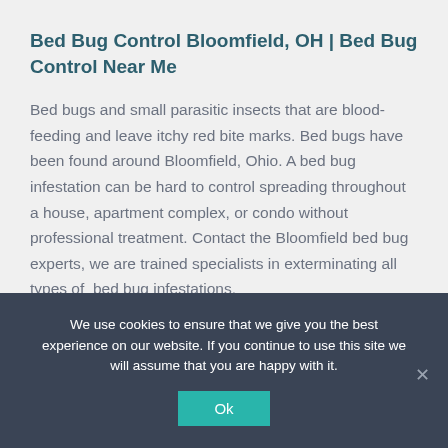Bed Bug Control Bloomfield, OH | Bed Bug Control Near Me
Bed bugs and small parasitic insects that are blood-feeding and leave itchy red bite marks. Bed bugs have been found around Bloomfield, Ohio. A bed bug infestation can be hard to control spreading throughout a house, apartment complex, or condo without professional treatment. Contact the Bloomfield bed bug experts, we are trained specialists in exterminating all types of  bed bug infestations.
We use cookies to ensure that we give you the best experience on our website. If you continue to use this site we will assume that you are happy with it.